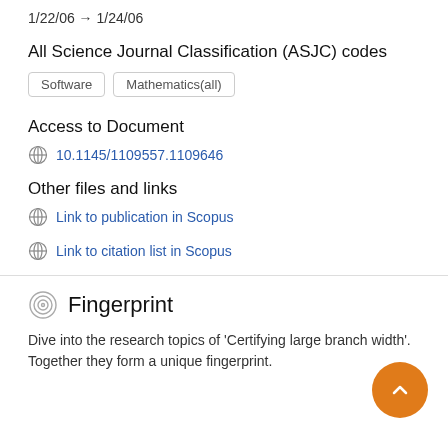1/22/06 → 1/24/06
All Science Journal Classification (ASJC) codes
Software
Mathematics(all)
Access to Document
10.1145/1109557.1109646
Other files and links
Link to publication in Scopus
Link to citation list in Scopus
Fingerprint
Dive into the research topics of 'Certifying large branch width'. Together they form a unique fingerprint.